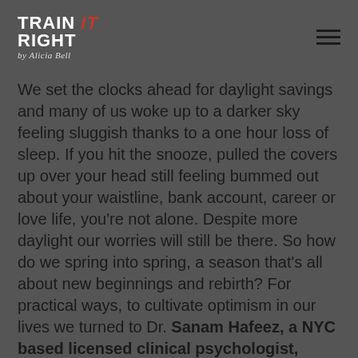Train It Right by Alicia Bell
We set the clocks ahead for daylight savings and many of us woke up to a darker sky feeling sluggish thanks to a one hour loss of sleep. If you hit the snooze, pulled the covers up over your head still feeling bummed out about your waistline, bank account, career or love life, you’re not alone. Despite more daylight our worries will still be there. So how do we spring into spring, a season that’s all about new beginnings and rebirth? For practical ways, to cultivate optimism in our lives we turned to Dr. Sanam Hafeez, a NYC based licensed clinical psychologist, teaching faculty member at the prestigious Columbia University Teacher’s College